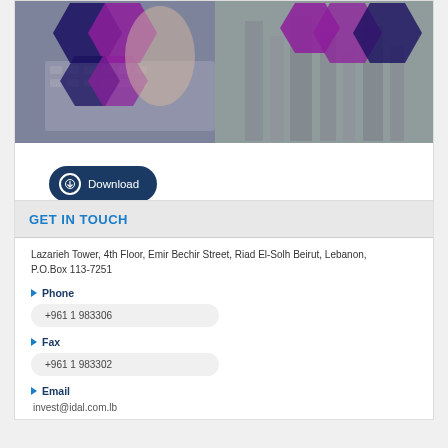[Figure (photo): Banner image showing hands on a laptop keyboard with purple geometric hexagon shapes overlaid, and a cityscape background — appears to be a financial/investment promotional banner.]
Download
GET IN TOUCH
Lazarieh Tower, 4th Floor, Emir Bechir Street, Riad El-Solh Beirut, Lebanon, P.O.Box 113-7251
Phone
+961 1 983306
Fax
+961 1 983302
Email
invest@idal.com.lb